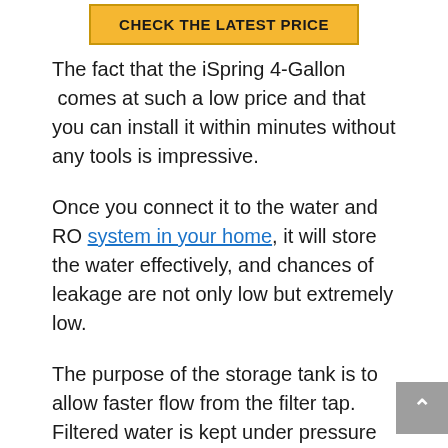[Figure (other): Yellow button with text CHECK THE LATEST PRICE]
The fact that the iSpring 4-Gallon  comes at such a low price and that you can install it within minutes without any tools is impressive.
Once you connect it to the water and RO system in your home, it will store the water effectively, and chances of leakage are not only low but extremely low.
The purpose of the storage tank is to allow faster flow from the filter tap. Filtered water is kept under pressure in this tank and then released at a much higher flow rate than if you simply connect the filters to the tap.